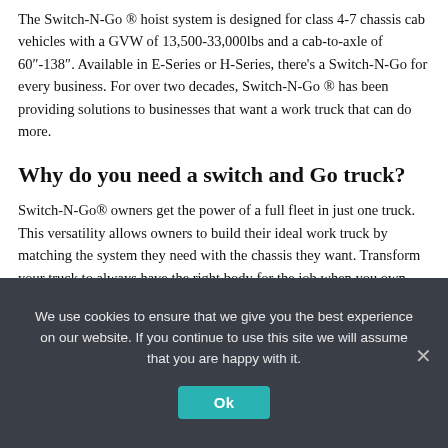The Switch-N-Go ® hoist system is designed for class 4-7 chassis cab vehicles with a GVW of 13,500-33,000lbs and a cab-to-axle of 60"-138". Available in E-Series or H-Series, there's a Switch-N-Go for every business. For over two decades, Switch-N-Go ® has been providing solutions to businesses that want a work truck that can do more.
Why do you need a switch and Go truck?
Switch-N-Go® owners get the power of a full fleet in just one truck. This versatility allows owners to build their ideal work truck by matching the system they need with the chassis they want. Transform your truck to always have the right body for the job when you own and use multiple work truck bodies.
We use cookies to ensure that we give you the best experience on our website. If you continue to use this site we will assume that you are happy with it.